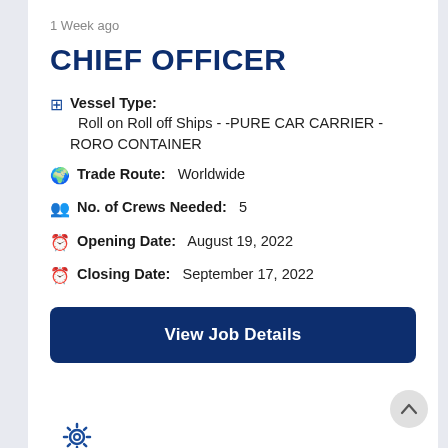1 Week ago
CHIEF OFFICER
Vessel Type:  Roll on Roll off Ships - -PURE CAR CARRIER - RORO CONTAINER
Trade Route:  Worldwide
No. of Crews Needed:  5
Opening Date:  August 19, 2022
Closing Date:  September 17, 2022
View Job Details